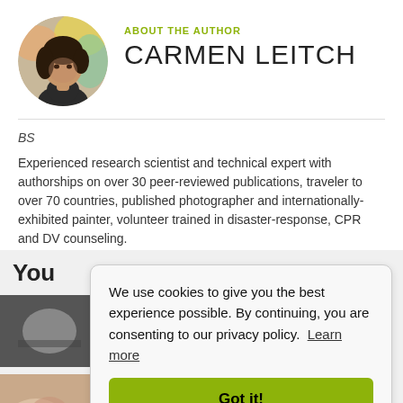[Figure (photo): Circular profile photo of Carmen Leitch, a woman with dark hair]
ABOUT THE AUTHOR
CARMEN LEITCH
BS
Experienced research scientist and technical expert with authorships on over 30 peer-reviewed publications, traveler to over 70 countries, published photographer and internationally-exhibited painter, volunteer trained in disaster-response, CPR and DV counseling.
You
[Figure (photo): Thumbnail image of lab dishes/petri dishes]
[Figure (photo): Thumbnail image of hands]
We use cookies to give you the best experience possible. By continuing, you are consenting to our privacy policy. Learn more
Got it!